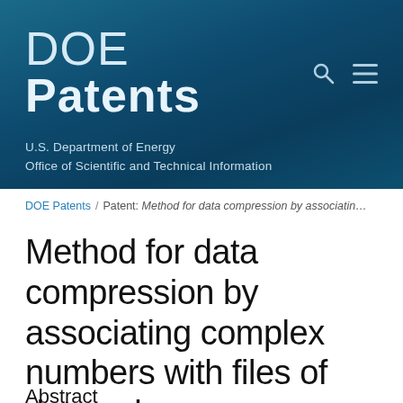DOE Patents — U.S. Department of Energy, Office of Scientific and Technical Information
DOE Patents / Patent: Method for data compression by associatin…
Method for data compression by associating complex numbers with files of data values
Abstract